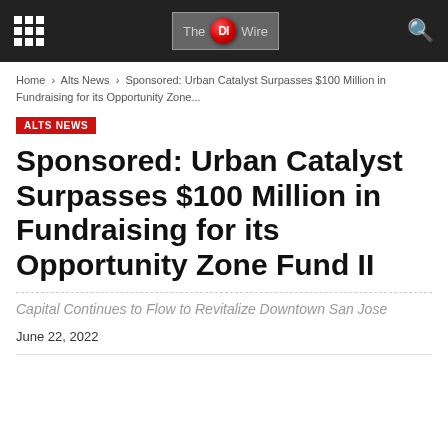The DI Wire
Home › Alts News › Sponsored: Urban Catalyst Surpasses $100 Million in Fundraising for its Opportunity Zone...
ALTS NEWS
Sponsored: Urban Catalyst Surpasses $100 Million in Fundraising for its Opportunity Zone Fund II
Capital Continues to Flow to Revitalize Downtown San Jose
June 22, 2022